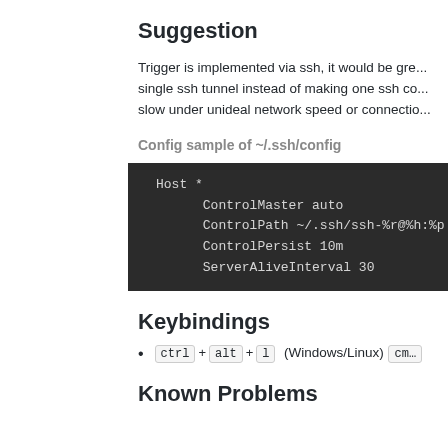Suggestion
Trigger is implemented via ssh, it would be great to reuse a single ssh tunnel instead of making one ssh co… slow under unideal network speed or connectio…
Config sample of ~/.ssh/config
[Figure (screenshot): Dark code block showing SSH config: Host *, ControlMaster auto, ControlPath ~/.ssh/ssh-%r@%h:%p, ControlPersist 10m, ServerAliveInterval 30]
Keybindings
ctrl + alt + l (Windows/Linux) cmd…
Known Problems